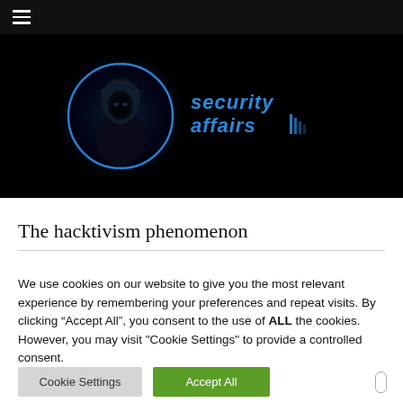≡ (navigation menu)
[Figure (logo): Security Affairs website logo: hooded figure silhouette inside a blue glowing circle, with 'security affairs' text in blue digital font to the right]
The hacktivism phenomenon
We use cookies on our website to give you the most relevant experience by remembering your preferences and repeat visits. By clicking "Accept All", you consent to the use of ALL the cookies. However, you may visit "Cookie Settings" to provide a controlled consent.
Cookie Settings | Accept All